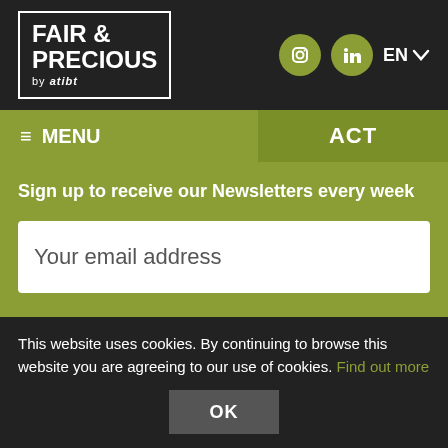[Figure (logo): Fair & Precious by atibt logo in white text with border, on dark background]
FAIR & PRECIOUS by atibt | Instagram | LinkedIn | EN
≡ MENU    ACT
Sign up to receive our Newsletters every week
Your email address
I agree to receive the FAIR&PRECIOUS / STTC and ATIBT Newsletters by email*
OK
This website uses cookies. By continuing to browse this website you are agreeing to our use of cookies. Find out more
OK